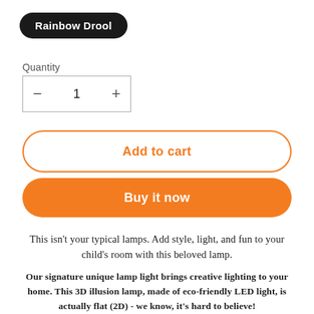Rainbow Drool
Quantity
− 1 +
Add to cart
Buy it now
This isn't your typical lamps. Add style, light, and fun to your child's room with this beloved lamp.
Our signature unique lamp light brings creative lighting to your home. This 3D illusion lamp, made of eco-friendly LED light, is actually flat (2D) - we know, it's hard to believe!